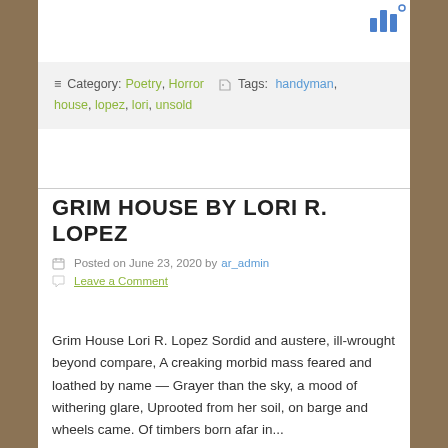[Figure (other): Bar chart icon in blue at top right corner of the page]
≡ Category: Poetry, Horror  🏷 Tags: handyman, house, lopez, lori, unsold
GRIM HOUSE BY LORI R. LOPEZ
Posted on June 23, 2020 by ar_admin
Leave a Comment
Grim House Lori R. Lopez Sordid and austere, ill-wrought beyond compare, A creaking morbid mass feared and loathed by name — Grayer than the sky, a mood of withering glare, Uprooted from her soil, on barge and wheels came. Of timbers born afar in...